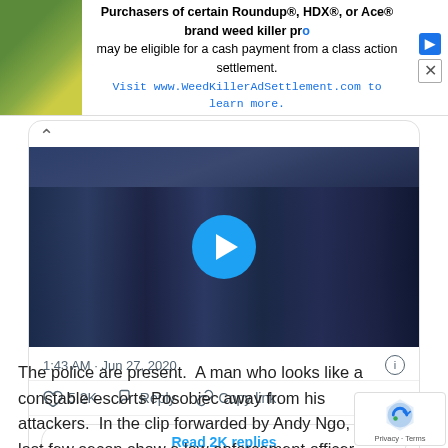[Figure (screenshot): Advertisement banner for Roundup/HDX/Ace weed killer class action settlement with plant image on left]
[Figure (screenshot): Embedded tweet card showing a video thumbnail of a crowd scene with a play button, dated 1:43 AM Jun 27, 2020, with 5.2K likes, Reply, Copy link actions, and Read 2K replies button]
The police are present.  A man who looks like a constable escorts Posobiec away from his attackers.  In the clip forwarded by Andy Ngo, the last few secon show a law enforcement officer warning the black b attacker to back off.